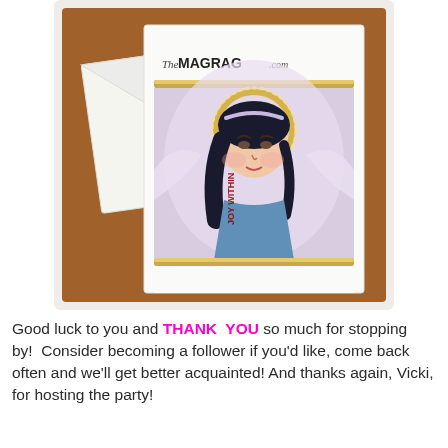[Figure (photo): Photo of a greeting card with an angel illustration on a wooden surface. The card features a painting of a female angel with dark hair, a golden halo, and blue garment. The card has a decorative gold trim border. Behind it is a white envelope. The card has 'The MAGRAG.com' printed at the top.]
Good luck to you and THANK  YOU so much for stopping by!  Consider becoming a follower if you'd like, come back often and we'll get better acquainted! And thanks again, Vicki, for hosting the party!